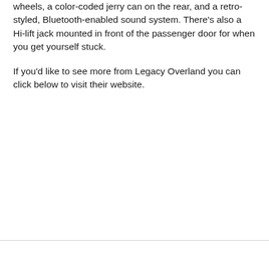wheels, a color-coded jerry can on the rear, and a retro-styled, Bluetooth-enabled sound system. There's also a Hi-lift jack mounted in front of the passenger door for when you get yourself stuck.
If you'd like to see more from Legacy Overland you can click below to visit their website.